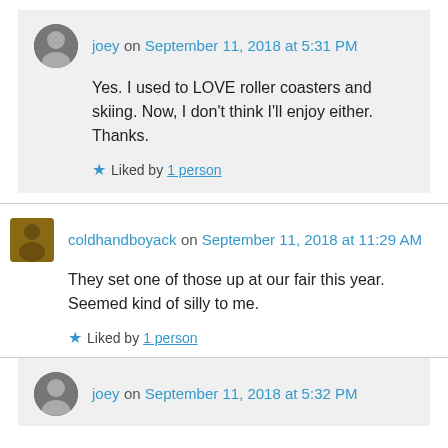joey on September 11, 2018 at 5:31 PM
Yes. I used to LOVE roller coasters and skiing. Now, I don't think I'll enjoy either. Thanks.
Liked by 1 person
coldhandboyack on September 11, 2018 at 11:29 AM
They set one of those up at our fair this year. Seemed kind of silly to me.
Liked by 1 person
joey on September 11, 2018 at 5:32 PM